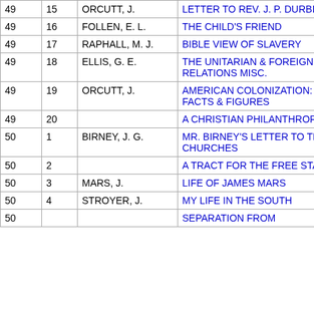|  |  |  |  |
| --- | --- | --- | --- |
| 49 | 15 | ORCUTT, J. | LETTER TO REV. J. P. DURBIN |
| 49 | 16 | FOLLEN, E. L. | THE CHILD'S FRIEND |
| 49 | 17 | RAPHALL, M. J. | BIBLE VIEW OF SLAVERY |
| 49 | 18 | ELLIS, G. E. | THE UNITARIAN & FOREIGN RELATIONS MISC. |
| 49 | 19 | ORCUTT, J. | AMERICAN COLONIZATION: FACTS & FIGURES |
| 49 | 20 |  | A CHRISTIAN PHILANTHROPIST |
| 50 | 1 | BIRNEY, J. G. | MR. BIRNEY'S LETTER TO THE CHURCHES |
| 50 | 2 |  | A TRACT FOR THE FREE STATES |
| 50 | 3 | MARS, J. | LIFE OF JAMES MARS |
| 50 | 4 | STROYER, J. | MY LIFE IN THE SOUTH |
| 50 |  |  | SEPARATION FROM |